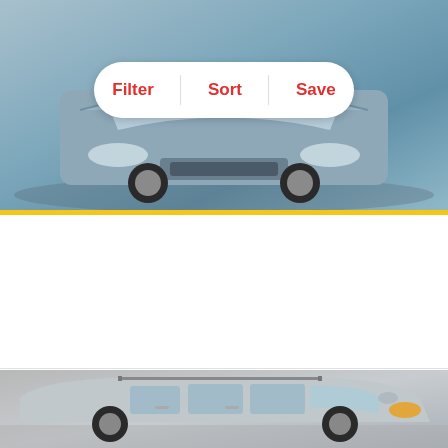[Figure (photo): Front view of a blue/silver Honda Odyssey minivan in a grey studio setting, with Filter, Sort, Save buttons overlay]
2017 Honda Odyssey SE
$26,998
60,511 Miles | Transfer Available
est. $389/mo
Track Price   Check Availability
[Figure (photo): Side view of a silver Honda Odyssey minivan in a grey studio, with a heart/favorite icon in the top right corner]